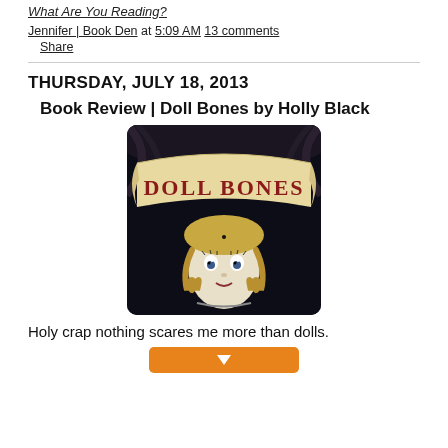What Are You Reading?
Jennifer | Book Den at 5:09 AM 13 comments Share
THURSDAY, JULY 18, 2013
Book Review | Doll Bones by Holly Black
[Figure (photo): Book cover of 'Doll Bones' by Holly Black showing a creepy doll face with golden braids beneath a banner reading 'DOLL BONES' in dark red letters on a cream background, all set against a dark background.]
Holy crap nothing scares me more than dolls.